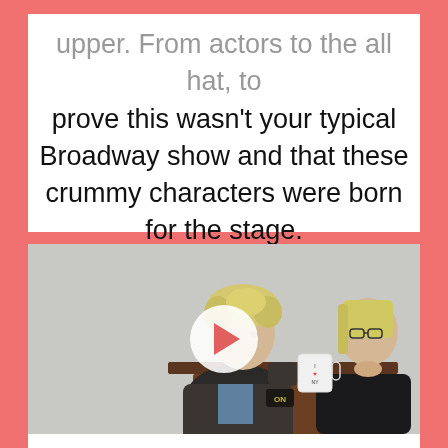upper. From actors to the all hat, to prove this wasn't your typical Broadway show and that these crummy characters were born for the stage.
[Figure (photo): Two actors in costume sitting at a wooden table. Left actor has curly blonde hair and a leather jacket leaning over the table. Right actor has straight blonde hair and glasses wearing a dark jacket. A white mug with 'I ♥ NY' is on the table. A video play button overlay is in the center of the image.]